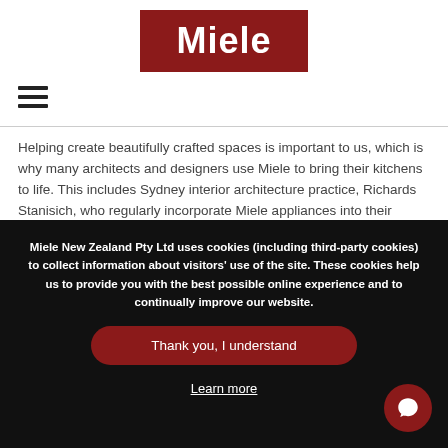[Figure (logo): Miele logo — white bold text on dark red/maroon rectangular background]
[Figure (other): Hamburger menu icon — three horizontal black lines]
Helping create beautifully crafted spaces is important to us, which is why many architects and designers use Miele to bring their kitchens to life. This includes Sydney interior architecture practice, Richards Stanisich, who regularly incorporate Miele appliances into their designs.
Miele New Zealand Pty Ltd uses cookies (including third-party cookies) to collect information about visitors' use of the site. These cookies help us to provide you with the best possible online experience and to continually improve our website.
Thank you, I understand
Learn more